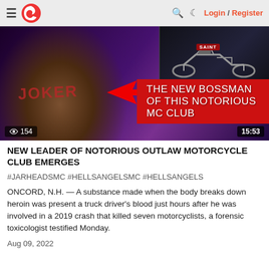≡  C  [search] [moon] Login / Register
[Figure (screenshot): Video thumbnail showing a bearded man in a JOKER t-shirt with red bandana, overlaid with text 'THE NEW BOSSMAN OF THIS NOTORIOUS MC CLUB', red arrow, view count 154, duration 15:53]
NEW LEADER OF NOTORIOUS OUTLAW MOTORCYCLE CLUB EMERGES
#JARHEADSMC #HELLSANGELSMC #HELLSANGELS
ONCORD, N.H. — A substance made when the body breaks down heroin was present a truck driver's blood just hours after he was involved in a 2019 crash that killed seven motorcyclists, a forensic toxicologist testified Monday.
Aug 09, 2022